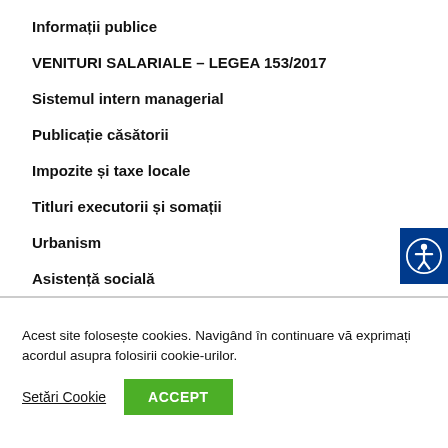Informații publice
VENITURI SALARIALE – LEGEA 153/2017
Sistemul intern managerial
Publicație căsătorii
Impozite și taxe locale
Titluri executorii și somații
Urbanism
Asistență socială
[Figure (illustration): Blue accessibility icon button on right side]
Acest site folosește cookies. Navigând în continuare vă exprimați acordul asupra folosirii cookie-urilor.
Setări Cookie
ACCEPT